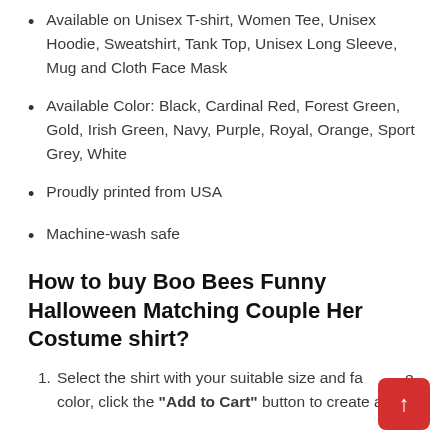Available on Unisex T-shirt, Women Tee, Unisex Hoodie, Sweatshirt, Tank Top, Unisex Long Sleeve, Mug and Cloth Face Mask
Available Color: Black, Cardinal Red, Forest Green, Gold, Irish Green, Navy, Purple, Royal, Orange, Sport Grey, White
Proudly printed from USA
Machine-wash safe
How to buy Boo Bees Funny Halloween Matching Couple Her Costume shirt?
Select the shirt with your suitable size and favorite color, click the "Add to Cart" button to create a